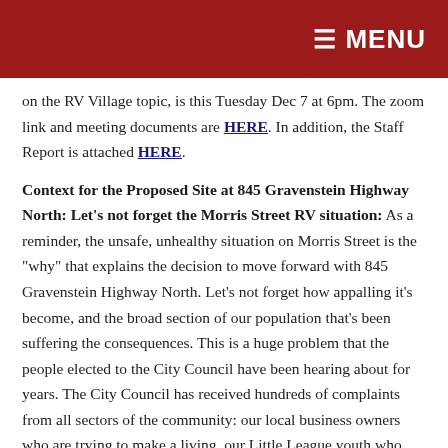☰ MENU
on the RV Village topic, is this Tuesday Dec 7 at 6pm. The zoom link and meeting documents are HERE. In addition, the Staff Report is attached HERE.
Context for the Proposed Site at 845 Gravenstein Highway North: Let's not forget the Morris Street RV situation: As a reminder, the unsafe, unhealthy situation on Morris Street is the "why" that explains the decision to move forward with 845 Gravenstein Highway North. Let's not forget how appalling it's become, and the broad section of our population that's been suffering the consequences. This is a huge problem that the people elected to the City Council have been hearing about for years. The City Council has received hundreds of complaints from all sectors of the community: our local business owners who are trying to make a living, our Little League youth who just want to walk